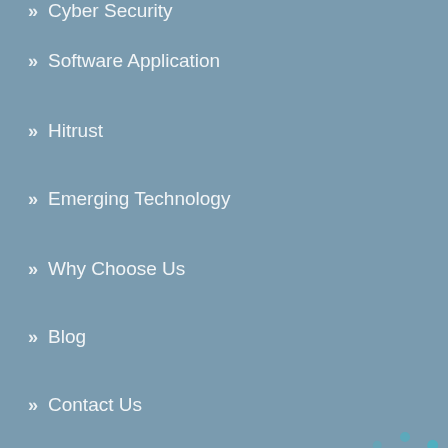» Cyber Security
» Software Application
» Hitrust
» Emerging Technology
» Why Choose Us
» Blog
» Contact Us
[Figure (other): Loading spinner animation made of teal dots arranged in a circle]
Contact Us
Head office: Singapore
16 Collyer Quay Level 18-01
Collyer Quay Singapore